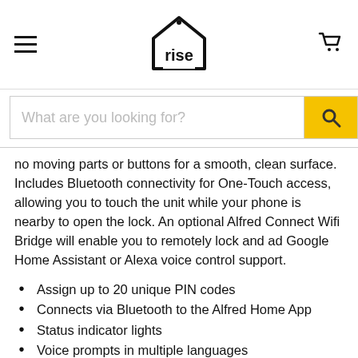rise — navigation header with hamburger menu, rise logo, and cart icon
What are you looking for? [search bar]
no moving parts or buttons for a smooth, clean surface. Includes Bluetooth connectivity for One-Touch access, allowing you to touch the unit while your phone is nearby to open the lock. An optional Alfred Connect Wifi Bridge will enable you to remotely lock and ad Google Home Assistant or Alexa voice control support.
Assign up to 20 unique PIN codes
Connects via Bluetooth to the Alfred Home App
Status indicator lights
Voice prompts in multiple languages
Privacy mode
Network ready
You can also connect to a ZRC to...